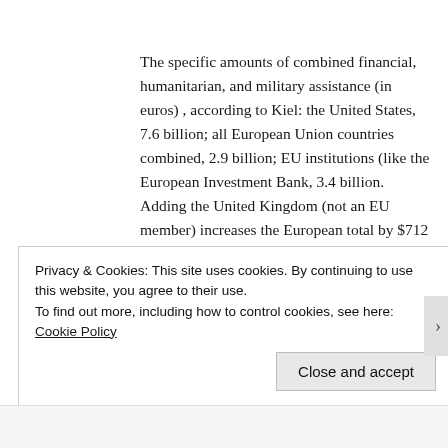The specific amounts of combined financial, humanitarian, and military assistance (in euros) , according to Kiel: the United States, 7.6 billion; all European Union countries combined, 2.9 billion; EU institutions (like the European Investment Bank, 3.4 billion. Adding the United Kingdom (not an EU member) increases the European total by $712 million euros – and would still leave this figure below that of U.S. aid in all forms.
Privacy & Cookies: This site uses cookies. By continuing to use this website, you agree to their use.
To find out more, including how to control cookies, see here: Cookie Policy
Close and accept